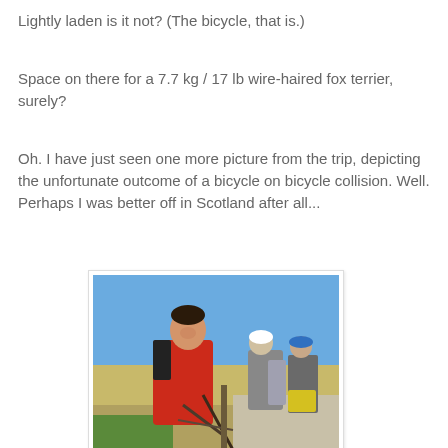Lightly laden is it not?  (The bicycle, that is.)
Space on there for a 7.7 kg / 17 lb wire-haired fox terrier, surely?
Oh. I have just seen one more picture from the trip, depicting the unfortunate outcome of a bicycle on bicycle collision. Well. Perhaps I was better off in Scotland after all...
[Figure (photo): A young man in a red jacket smiling at the camera, standing next to a damaged bicycle. Behind him is a group of cyclists on a rural road, with open fields and a blue sky in the background.]